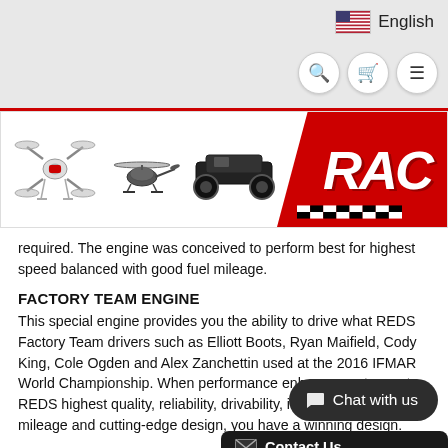English
[Figure (screenshot): Website banner showing RC drone, RC helicopter, RC car images and RACE logo in red]
required. The engine was conceived to perform best for highest speed balanced with good fuel mileage.
FACTORY TEAM ENGINE
This special engine provides you the ability to drive what REDS Factory Team drivers such as Elliott Boots, Ryan Maifield, Cody King, Cole Ogden and Alex Zanchettin used at the 2016 IFMAR World Championship. When performance enhancements meet REDS highest quality, reliability, drivability, improvement in fuel mileage and cutting-edge design, you have a winning design.
LIMITED EDITION
Only 300 units will ever be created. This Edition Packaging designed to celebrate World Championship in Vegas.